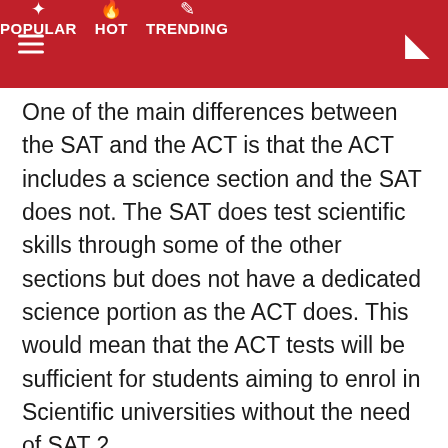POPULAR  HOT  TRENDING
One of the main differences between the SAT and the ACT is that the ACT includes a science section and the SAT does not. The SAT does test scientific skills through some of the other sections but does not have a dedicated science portion as the ACT does. This would mean that the ACT tests will be sufficient for students aiming to enrol in Scientific universities without the need of SAT 2.
That said, ACT centres and teachers in Egypt are very limited, which will make it hard for students to pass.
Others are suggesting that parents should consider having their kids go to other countries like Lebanon for the exams. This solution, however, is not guranteed